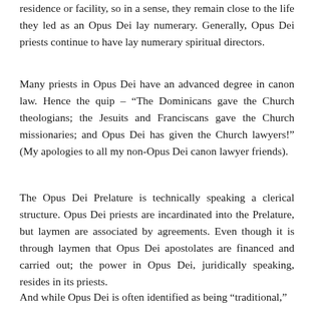residence or facility, so in a sense, they remain close to the life they led as an Opus Dei lay numerary. Generally, Opus Dei priests continue to have lay numerary spiritual directors.
Many priests in Opus Dei have an advanced degree in canon law. Hence the quip – “The Dominicans gave the Church theologians; the Jesuits and Franciscans gave the Church missionaries; and Opus Dei has given the Church lawyers!” (My apologies to all my non-Opus Dei canon lawyer friends).
The Opus Dei Prelature is technically speaking a clerical structure. Opus Dei priests are incardinated into the Prelature, but laymen are associated by agreements. Even though it is through laymen that Opus Dei apostolates are financed and carried out; the power in Opus Dei, juridically speaking, resides in its priests.
And while Opus Dei is often identified as being “traditional,”